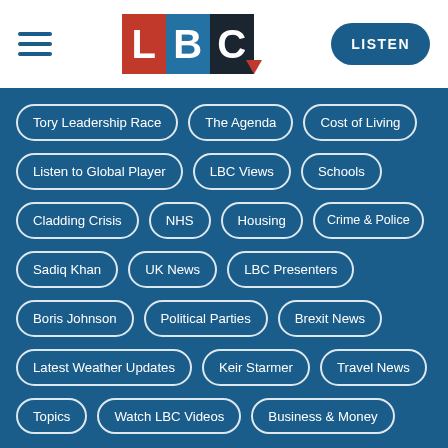[Figure (logo): LBC radio logo with red L, blue B, dark C blocks]
LBC - LISTEN
Tory Leadership Race
The Agenda
Cost of Living
Listen to Global Player
LBC Views
Schools
Cladding Crisis
NHS
Housing
Crime & Police
Sadiq Khan
UK News
LBC Presenters
Boris Johnson
Political Parties
Brexit News
Latest Weather Updates
Keir Starmer
Travel News